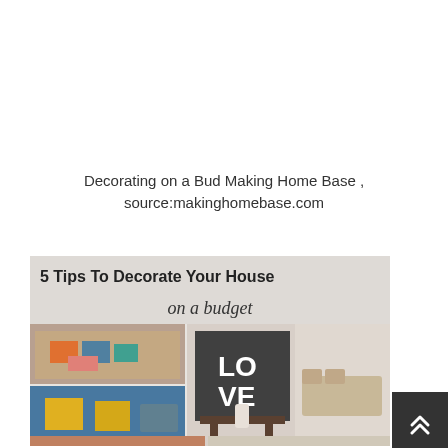Decorating on a Bud Making Home Base , source:makinghomebase.com
[Figure (infographic): Infographic titled '5 Tips To Decorate Your House on a budget' showing a collage of home decoration photos including a colorful bedroom with orange and blue pillows, decorative cushions with yellow flowers, a 'LOVE' wall art display, a neutral living room, and partial bottom photos.]